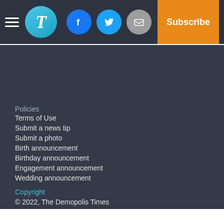Navigation header with hamburger menu, logo, social icons (Facebook, Twitter, Email), and Subscribe button
Policies
Terms of Use
Submit a news tip
Submit a photo
Birth announcement
Birthday announcement
Engagement announcement
Wedding announcement
Copyright
© 2022, The Demopolis Times